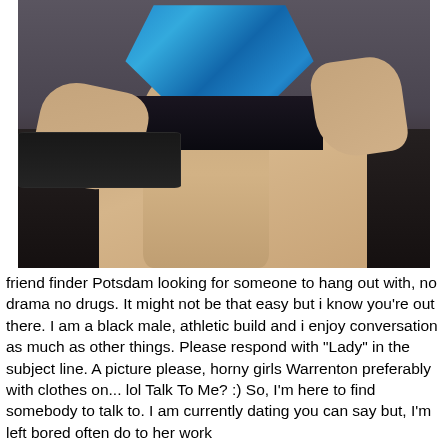[Figure (photo): A person sitting on a dark leather couch wearing a blue top, using a laptop keyboard, photographed from the neck down]
friend finder Potsdam looking for someone to hang out with, no drama no drugs. It might not be that easy but i know you're out there. I am a black male, athletic build and i enjoy conversation as much as other things. Please respond with "Lady" in the subject line. A picture please, horny girls Warrenton preferably with clothes on... lol Talk To Me? :) So, I'm here to find somebody to talk to. I am currently dating you can say but, I'm left bored often do to her work